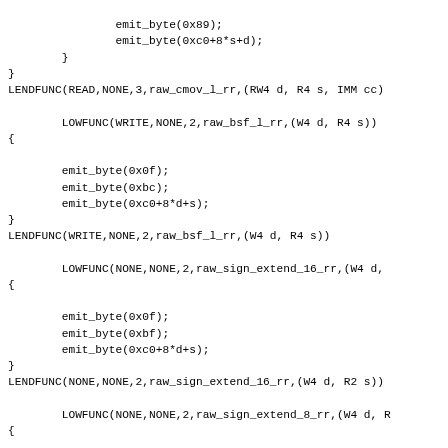emit_byte(0x89);
                emit_byte(0xc0+8*s+d);
        }
}
LENDFUNC(READ,NONE,3,raw_cmov_l_rr,(RW4 d, R4 s, IMM cc)

        LOWFUNC(WRITE,NONE,2,raw_bsf_l_rr,(W4 d, R4 s))
{

        emit_byte(0x0f);
        emit_byte(0xbc);
        emit_byte(0xc0+8*d+s);
}
LENDFUNC(WRITE,NONE,2,raw_bsf_l_rr,(W4 d, R4 s))

        LOWFUNC(NONE,NONE,2,raw_sign_extend_16_rr,(W4 d,
{

        emit_byte(0x0f);
        emit_byte(0xbf);
        emit_byte(0xc0+8*d+s);
}
LENDFUNC(NONE,NONE,2,raw_sign_extend_16_rr,(W4 d, R2 s))

        LOWFUNC(NONE,NONE,2,raw_sign_extend_8_rr,(W4 d, R
{

        emit_byte(0x0f);
        emit_byte(0xbe);
        emit_byte(0xc0+8*d+s);
}
LENDFUNC(NONE,NONE,2,raw_sign_extend_8_rr,(W4 d, R1 s))